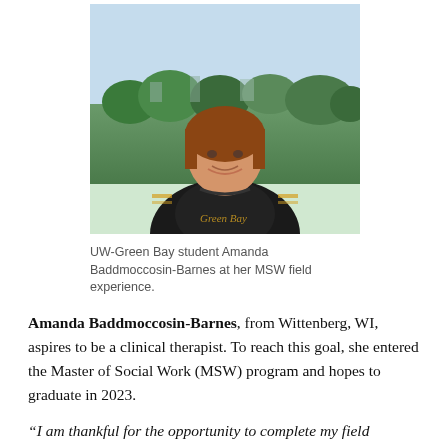[Figure (photo): Photo of Amanda Baddmoccosin-Barnes, a woman wearing a Green Bay shirt, standing near a window with a landscape view behind her.]
UW-Green Bay student Amanda Baddmoccosin-Barnes at her MSW field experience.
Amanda Baddmoccosin-Barnes, from Wittenberg, WI, aspires to be a clinical therapist. To reach this goal, she entered the Master of Social Work (MSW) program and hopes to graduate in 2023.
“I am thankful for the opportunity to complete my field experience with Menominee Tribal Family Services, because the staff has a wealth of knowledge and compassion, along with being instrumental in